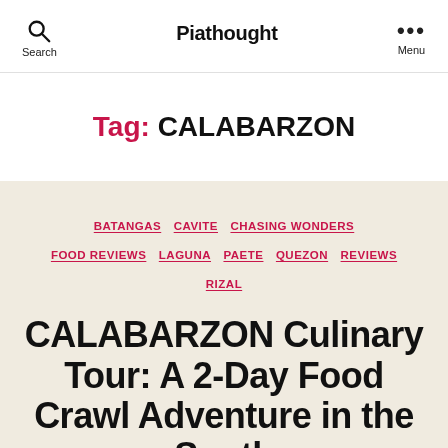Search  Piathought  Menu
Tag: CALABARZON
BATANGAS  CAVITE  CHASING WONDERS  FOOD REVIEWS  LAGUNA  PAETE  QUEZON  REVIEWS  RIZAL
CALABARZON Culinary Tour: A 2-Day Food Crawl Adventure in the South